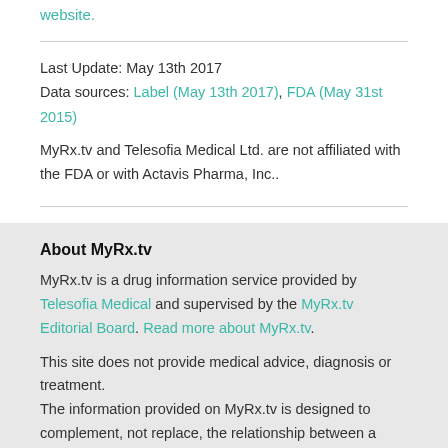Read more about Amiodarone Hydrochloride being on the FDA website.
Last Update: May 13th 2017
Data sources: Label (May 13th 2017), FDA (May 31st 2015)
MyRx.tv and Telesofia Medical Ltd. are not affiliated with the FDA or with Actavis Pharma, Inc..
About MyRx.tv
MyRx.tv is a drug information service provided by Telesofia Medical and supervised by the MyRx.tv Editorial Board. Read more about MyRx.tv.
This site does not provide medical advice, diagnosis or treatment.
The information provided on MyRx.tv is designed to complement, not replace, the relationship between a patient